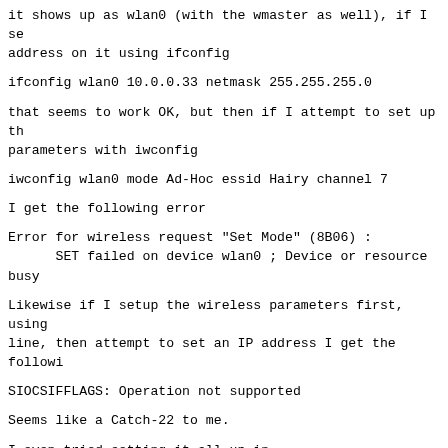it shows up as wlan0 (with the wmaster as well), if I set address on it using ifconfig
ifconfig wlan0 10.0.0.33 netmask 255.255.255.0
that seems to work OK, but then if I attempt to set up the parameters with iwconfig
iwconfig wlan0 mode Ad-Hoc essid Hairy channel 7
I get the following error
Error for wireless request "Set Mode" (8B06) :
      SET failed on device wlan0 ; Device or resource busy
Likewise if I setup the wireless parameters first, using line, then attempt to set an IP address I get the following:
SIOCSIFFLAGS: Operation not supported
Seems like a Catch-22 to me.
I even tried setting it all up in /etc/network/interfaces the system failed to bring up the interface.
Also about modes, iwconfig lists several modes, Managed, Secondary, Auto and so on, of these I would have thought for me, but only Ad-Hoc and Managed seem to work.
Usual detrius: kernel is 2.6.24 or 2.6.25 depending which